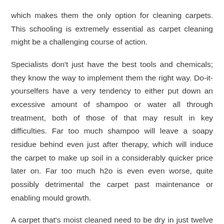which makes them the only option for cleaning carpets. This schooling is extremely essential as carpet cleaning might be a challenging course of action.
Specialists don't just have the best tools and chemicals; they know the way to implement them the right way. Do-it-yourselfers have a very tendency to either put down an excessive amount of shampoo or water all through treatment, both of those of that may result in key difficulties. Far too much shampoo will leave a soapy residue behind even just after therapy, which will induce the carpet to make up soil in a considerably quicker price later on. Far too much h2o is even even worse, quite possibly detrimental the carpet past maintenance or enabling mould growth.
A carpet that's moist cleaned need to be dry in just twelve several hours optimum but it's possible as very little as two